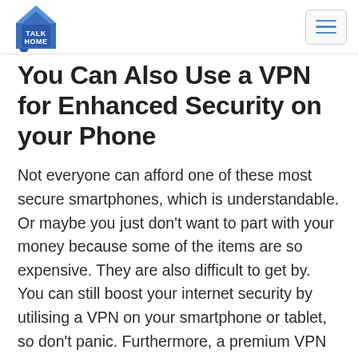Talk Home logo and navigation menu
You Can Also Use a VPN for Enhanced Security on your Phone
Not everyone can afford one of these most secure smartphones, which is understandable. Or maybe you just don't want to part with your money because some of the items are so expensive. They are also difficult to get by. You can still boost your internet security by utilising a VPN on your smartphone or tablet, so don't panic. Furthermore, a premium VPN will allow you to utilise it on both your mobile device and your computer. Some even allow you to connect an infinite number of devices with just one